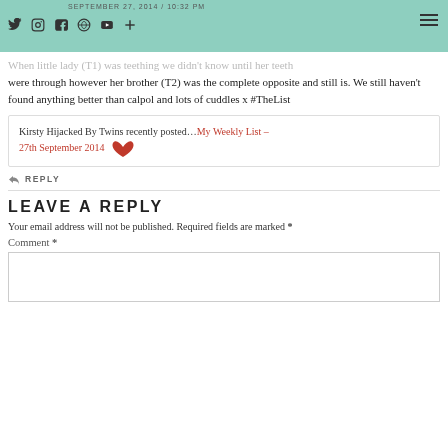SEPTEMBER 27, 2014 / 10:32 PM
When little lady (T1) was teething we didn't know until her teeth were through however her brother (T2) was the complete opposite and still is. We still haven't found anything better than calpol and lots of cuddles x #TheList
Kirsty Hijacked By Twins recently posted…My Weekly List – 27th September 2014
REPLY
LEAVE A REPLY
Your email address will not be published. Required fields are marked *
Comment *